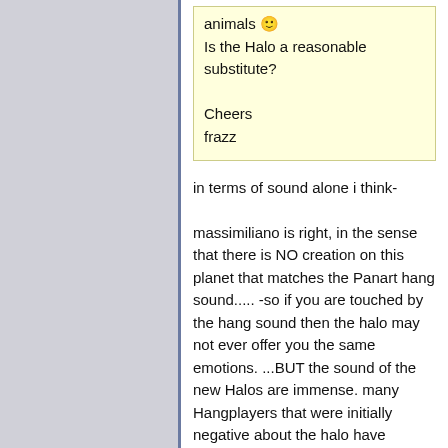animals :) Is the Halo a reasonable substitute?

Cheers
frazz
in terms of sound alone i think-
massimiliano is right, in the sense that there is NO creation on this planet that matches the Panart hang sound..... -so if you are touched by the hang sound then the halo may not ever offer you the same emotions. ...BUT the sound of the new Halos are immense. many Hangplayers that were initially negative about the halo have changed their opinions drastically!.. the rich deep tones can really warm ones soul! there is some residual 'tank like' sound